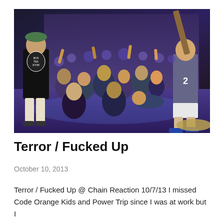[Figure (photo): Concert photo showing performers on stage with a crowd. One performer on left wears a black tank top with 'Boston Tea Store' text and faces the crowd. Another performer on right wears a grey jersey with number 22 and holds a guitar above his head. The crowd is energetic and diverse. The stage floor is lit in blue/purple lighting. A cymbal is visible at bottom right.]
Terror / Fucked Up
October 10, 2013
Terror / Fucked Up @ Chain Reaction 10/7/13 I missed Code Orange Kids and Power Trip since I was at work but I